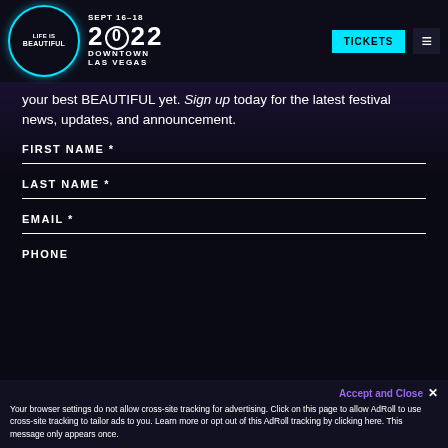LIFE IS BEAUTIFUL | SEPT 16-18 | 2022 | DOWNTOWN LAS VEGAS | TICKETS
your best BEAUTIFUL yet. Sign up today for the latest festival news, updates, and announcement.
FIRST NAME *
LAST NAME *
EMAIL *
PHONE
Accept and Close ✕
Your browser settings do not allow cross-site tracking for advertising. Click on this page to allow AdRoll to use cross-site tracking to tailor ads to you. Learn more or opt out of this AdRoll tracking by clicking here. This message only appears once.